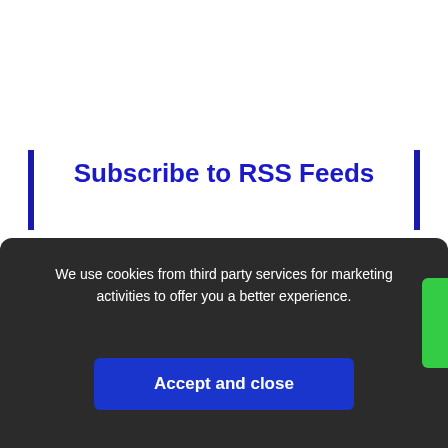Subscribe to RSS Feeds
Get all latest content delivered to your email a few times a month.
[Figure (screenshot): Email input field with placeholder text 'Your Email' and a checkmark icon on the right]
We use cookies from third party services for marketing activities to offer you a better experience.
Accept and close